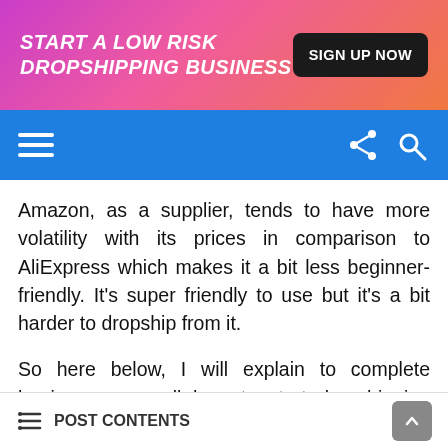[Figure (infographic): Banner advertisement with gradient pink-to-orange background. Text reads 'START A LOW RISK DROPSHIPPING BUSINESS' in bold italic white. Button on right reads 'SIGN UP NOW' on dark background.]
[Figure (screenshot): Blue navigation bar with hamburger menu icon on left and share/search icons on right.]
Amazon, as a supplier, tends to have more volatility with its prices in comparison to AliExpress which makes it a bit less beginner-friendly. It’s super friendly to use but it’s a bit harder to dropship from it.
So here below, I will explain to complete beginners as well how to start dropshipping from Amazon, but you should know that if you choose it as your first-ever dropshipping supplier instead of starting from AliExpress and only then expanding to Amazon, you
POST CONTENTS